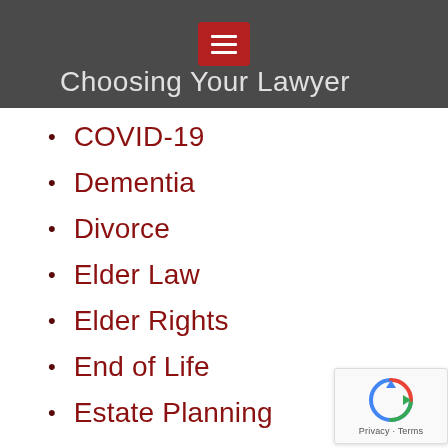Choosing Your Lawyer
Consumer Law
COVID-19
Dementia
Divorce
Elder Law
Elder Rights
End of Life
Estate Planning
Estate Planning Taxation
Family Law
Final Wishes